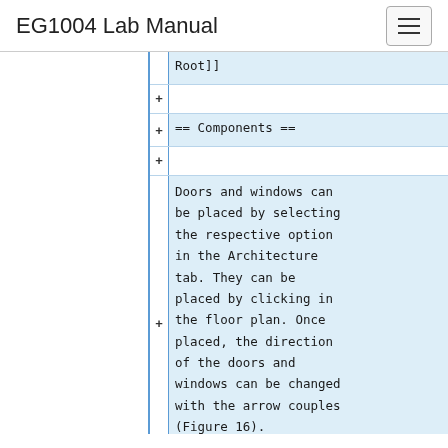EG1004 Lab Manual
Root]]
== Components ==
Doors and windows can be placed by selecting the respective option in the Architecture tab. They can be placed by clicking in the floor plan. Once placed, the direction of the doors and windows can be changed with the arrow couples (Figure 16).